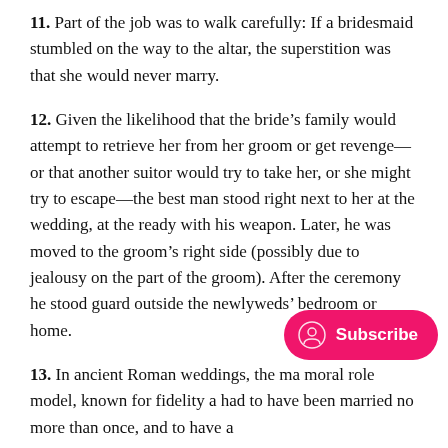11. Part of the job was to walk carefully: If a bridesmaid stumbled on the way to the altar, the superstition was that she would never marry.
12. Given the likelihood that the bride’s family would attempt to retrieve her from her groom or get revenge—or that another suitor would try to take her, or she might try to escape—the best man stood right next to her at the wedding, at the ready with his weapon. Later, he was moved to the groom’s right side (possibly due to jealousy on the part of the groom). After the ceremony he stood guard outside the newlyweds’ bedroom or home.
13. In ancient Roman weddings, the m… a moral role model, known for fidelity a… had to have been married no more than once, and to have a…